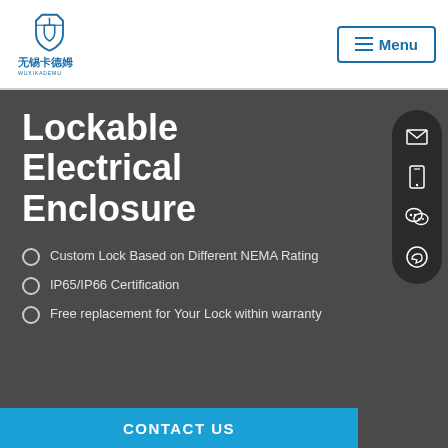WUXIKADEMU — Menu
Lockable Electrical Enclosure
Custom Lock Based on Different NEMA Rating
IP65/IP66 Certification
Free replacement for Your Lock within warranty
CONTACT US